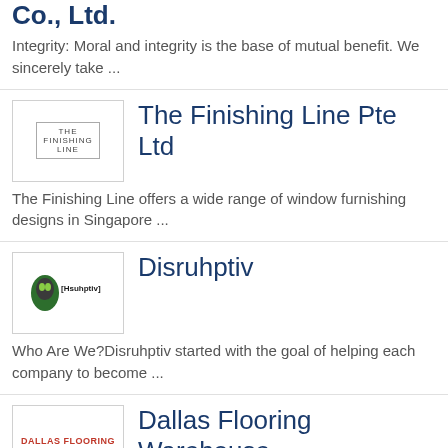Co., Ltd.
Integrity: Moral and integrity is the base of mutual benefit. We sincerely take ...
The Finishing Line Pte Ltd
The Finishing Line offers a wide range of window furnishing designs in Singapore ...
Disruhptiv
Who Are We?Disruhptiv started with the goal of helping each company to become ...
Dallas Flooring Warehouse
Carpet stores near me? Discount carpet store and warehouse flooring stores in The ...
Portoâ€™s Bakery & Cafe